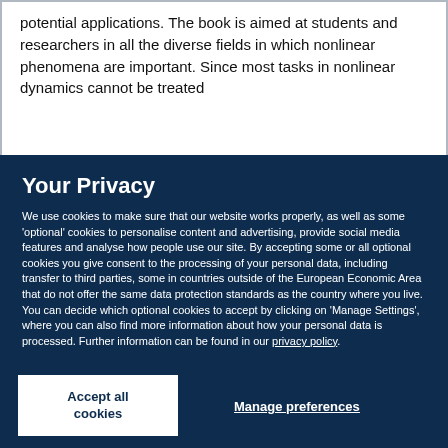potential applications. The book is aimed at students and researchers in all the diverse fields in which nonlinear phenomena are important. Since most tasks in nonlinear dynamics cannot be treated
Your Privacy
We use cookies to make sure that our website works properly, as well as some ‘optional’ cookies to personalise content and advertising, provide social media features and analyse how people use our site. By accepting some or all optional cookies you give consent to the processing of your personal data, including transfer to third parties, some in countries outside of the European Economic Area that do not offer the same data protection standards as the country where you live. You can decide which optional cookies to accept by clicking on ‘Manage Settings’, where you can also find more information about how your personal data is processed. Further information can be found in our privacy policy.
Accept all cookies
Manage preferences